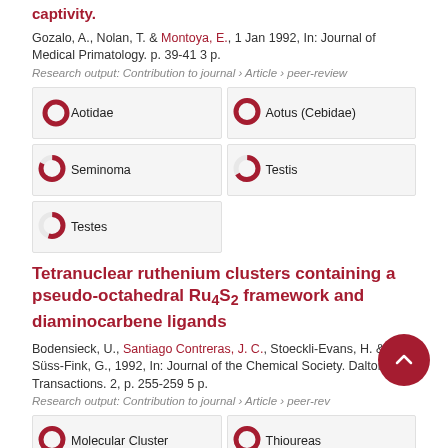captivity.
Gozalo, A., Nolan, T. & Montoya, E., 1 Jan 1992, In: Journal of Medical Primatology. p. 39-41 3 p.
Research output: Contribution to journal › Article › peer-review
[Figure (infographic): Five keyword badges with donut-style percentage indicators: Aotidae (100%), Aotus Cebidae (100%), Seminoma (100%), Testis (67%), Testes (55%)]
Tetranuclear ruthenium clusters containing a pseudo-octahedral Ru4S2 framework and diaminocarbene ligands
Bodensieck, U., Santiago Contreras, J. C., Stoeckli-Evans, H. & Süss-Fink, G., 1992, In: Journal of the Chemical Society. Dalton Transactions. 2, p. 255-259 5 p.
Research output: Contribution to journal › Article › peer-review
[Figure (infographic): Four keyword badges partially visible: Molecular Cluster (100%), Thioureas (100%), Ligand (partial), Single Crystalline Solid (partial)]